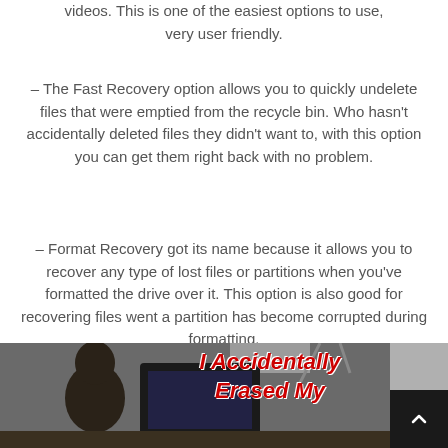videos. This is one of the easiest options to use, very user friendly.
– The Fast Recovery option allows you to quickly undelete files that were emptied from the recycle bin. Who hasn't accidentally deleted files they didn't want to, with this option you can get them right back with no problem.
– Format Recovery got its name because it allows you to recover any type of lost files or partitions when you've formatted the drive over it. This option is also good for recovering files went a partition has become corrupted during formatting.
[Figure (photo): Photo of a person at a computer with text overlay 'I Accidentally Erased My' in red bold italic letters, partially visible at the bottom of the page. A scroll-to-top button (dark background with up arrow) is overlaid in the bottom right corner.]